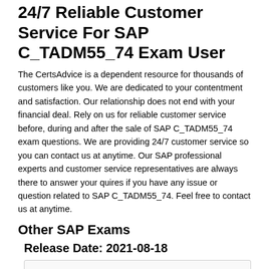24/7 Reliable Customer Service For SAP C_TADM55_74 Exam User
The CertsAdvice is a dependent resource for thousands of customers like you. We are dedicated to your contentment and satisfaction. Our relationship does not end with your financial deal. Rely on us for reliable customer service before, during and after the sale of SAP C_TADM55_74 exam questions. We are providing 24/7 customer service so you can contact us at anytime. Our SAP professional experts and customer service representatives are always there to answer your quires if you have any issue or question related to SAP C_TADM55_74. Feel free to contact us at anytime.
Other SAP Exams
Release Date: 2021-08-18
| Questions | 141 | c_ts413_1909 Practice Test | SAP Certified Application Associate - SAP |
| --- | --- | --- | --- |